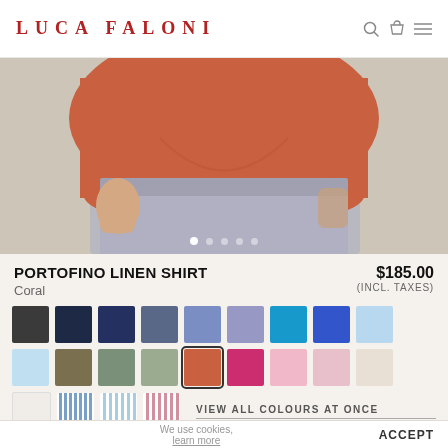LUCA FALONI
[Figure (photo): Close-up product photo of a man wearing a coral/orange linen shirt tucked into light grey linen trousers, showing the torso area.]
PORTOFINO LINEN SHIRT
$185.00 (INCL. TAXES)
Coral
[Figure (other): Color swatch grid showing 21 color options for the Portofino Linen Shirt. Colors include: charcoal, dark navy, navy, slate blue, medium blue, lavender-blue, teal, royal blue, light blue, light sky blue, olive/khaki, sage green, light sage, coral (selected/outlined), hot pink, light pink, blush pink, off-white/cream, white, blue stripes, light blue stripes, pink stripes.]
VIEW ALL COLOURS AT ONCE
We use cookies, learn more
ACCEPT